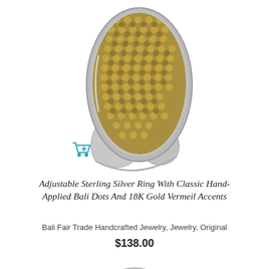[Figure (photo): Photo of an adjustable sterling silver ring with gold dot pattern on the face, shown from an angle on a white background. A teal shopping cart icon appears at the lower left of the image.]
Adjustable Sterling Silver Ring With Classic Hand-Applied Bali Dots And 18K Gold Vermeil Accents
Bali Fair Trade Handcrafted Jewelry, Jewelry, Original
$138.00
[Figure (photo): Partial photo of another ring at the bottom of the page, showing a silver ring with a stone or detailed top, cropped.]